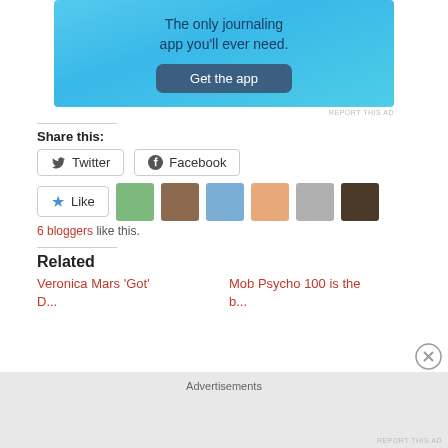[Figure (screenshot): App advertisement banner with sky blue gradient background. Text reads 'The only journaling app you'll ever need.' with a dark blue 'Get the app' button.]
REPORT THIS AD
Share this:
[Figure (infographic): Twitter and Facebook share buttons with icons]
[Figure (infographic): Like button with blue star icon, followed by 6 blogger avatar thumbnails]
6 bloggers like this.
Related
Veronica Mars 'Got'
Mob Psycho 100 is the
Advertisements